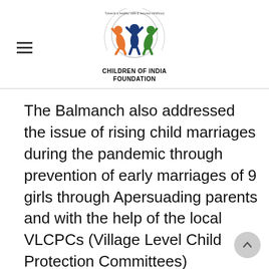Children of India Foundation
The Balmanch also addressed the issue of rising child marriages during the pandemic through prevention of early marriages of 9 girls through Apersuading parents and with the help of the local VLCPCs (Village Level Child Protection Committees) functioning in their villages.few days after this meeting, 34 children from 1 villages met online to assess the impact